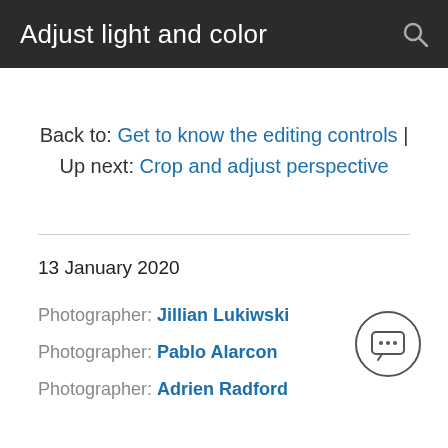Adjust light and color
Back to: Get to know the editing controls | Up next: Crop and adjust perspective
13 January 2020
Photographer: Jillian Lukiwski
Photographer: Pablo Alarcon
Photographer: Adrien Radford